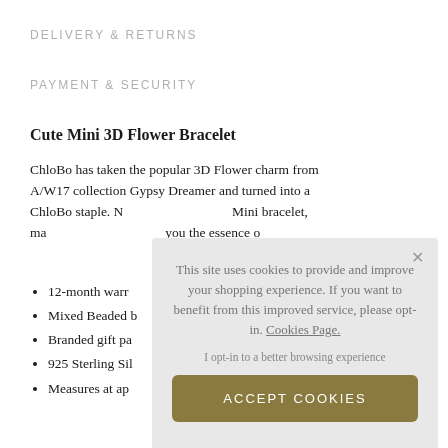DELIVERY & RETURNS
PAYMENT & SECURITY
Cute Mini 3D Flower Bracelet
ChloBo has taken the popular 3D Flower charm from A/W17 collection Gypsy Dreamer and turned into a ChloBo staple. N... Mini bracelet, ma... you the essence o...
12-month warr...
Mixed Beaded b...
Branded gift pa...
925 Sterling Sil...
Measures at ap...
This site uses cookies to provide and improve your shopping experience. If you want to benefit from this improved service, please opt-in. Cookies Page.
I opt-in to a better browsing experience
ACCEPT COOKIES